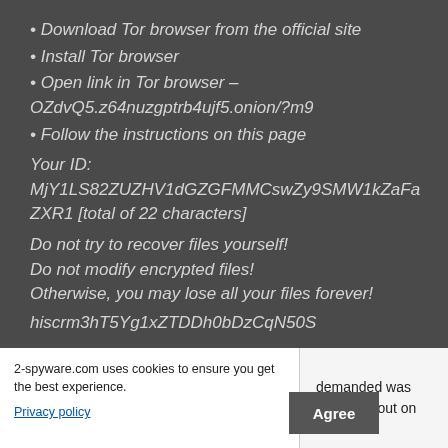• Download Tor browser from the official site
• Install Tor browser
• Open link in Tor browser – OZdvQ5.z64nuzgptrb4ujf5.onion/?m9
• Follow the instructions on this page
Your ID: MjY1LS82ZUZHV1dGZGFMMCswZy9SMW1kZaFaZXR1 [total of 22 characters]
Do not try to recover files yourself!
Do not modify encrypted files!
Otherwise, you may lose all your files forever!
hiscrm3hT5Yg1xZTDDh0bDzCqN50S
2-spyware.com uses cookies to ensure you get the best experience.
Privacy policy
Agree
demanded was hat came out on